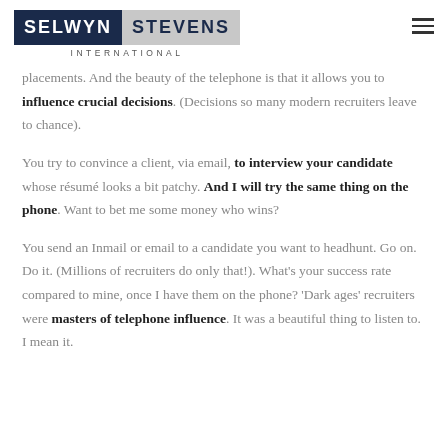SELWYN STEVENS INTERNATIONAL
placements. And the beauty of the telephone is that it allows you to influence crucial decisions. (Decisions so many modern recruiters leave to chance).
You try to convince a client, via email, to interview your candidate whose résumé looks a bit patchy. And I will try the same thing on the phone. Want to bet me some money who wins?
You send an Inmail or email to a candidate you want to headhunt. Go on. Do it. (Millions of recruiters do only that!). What's your success rate compared to mine, once I have them on the phone? 'Dark ages' recruiters were masters of telephone influence. It was a beautiful thing to listen to. I mean it.